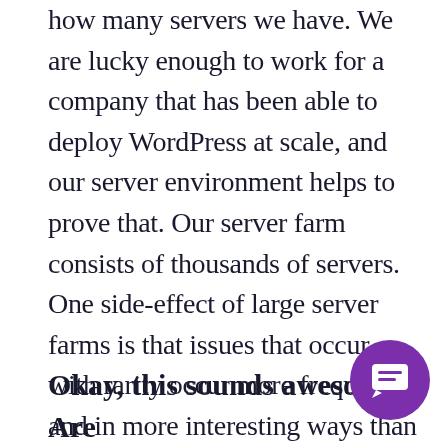how many servers we have. We are lucky enough to work for a company that has been able to deploy WordPress at scale, and our server environment helps to prove that. Our server farm consists of thousands of servers. One side-effect of large server farms is that issues that occur with rarity occur more frequently and in more interesting ways than much smaller server environments.
Okay, this sounds awesome. Are